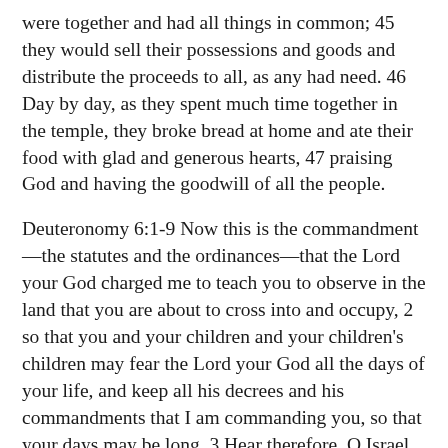were together and had all things in common; 45 they would sell their possessions and goods and distribute the proceeds to all, as any had need. 46 Day by day, as they spent much time together in the temple, they broke bread at home and ate their food with glad and generous hearts, 47 praising God and having the goodwill of all the people.
Deuteronomy 6:1-9 Now this is the commandment—the statutes and the ordinances—that the Lord your God charged me to teach you to observe in the land that you are about to cross into and occupy, 2 so that you and your children and your children's children may fear the Lord your God all the days of your life, and keep all his decrees and his commandments that I am commanding you, so that your days may be long. 3 Hear therefore, O Israel, and observe them diligently, so that it may go well with you, and so that you may multiply greatly in a land flowing with milk and honey, as the Lord, the God of your ancestors, has promised you. 4 Hear, O Israel: The Lord is our God, the Lord alone. 5 You shall love the